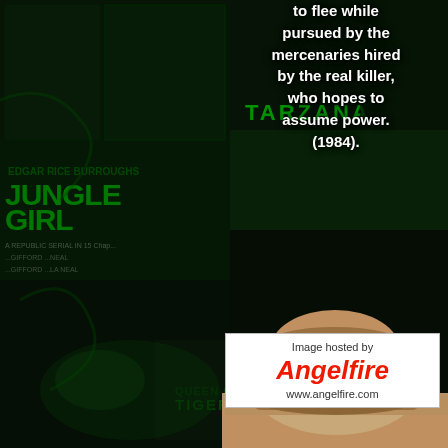[Figure (illustration): Dark green-tinted collage of vintage Tarzan and jungle adventure movie/comic posters including 'Jungle Girl', 'Tarzana', 'Tigermen', and 'La Reina de la Selva' as background]
to flee while pursued by the mercenaries hired by the real killer, who hopes to assume power. (1984).
[Figure (screenshot): Angelfire image hosting placeholder box with text 'Image hosted by Angelfire' and URL www.angelfire.com]
Quin Kessler was chosen to portray a female Tarzan called fittingly enough Jane (1985).
[Figure (photo): Bottom portion of a photograph showing the top of a person's head with brown/reddish hair]